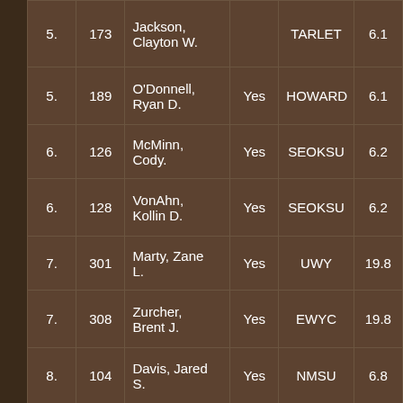| 5. | 173 | Jackson, Clayton W. |  | TARLET | 6.1 |
| 5. | 189 | O'Donnell, Ryan D. | Yes | HOWARD | 6.1 |
| 6. | 126 | McMinn, Cody. | Yes | SEOKSU | 6.2 |
| 6. | 128 | VonAhn, Kollin D. | Yes | SEOKSU | 6.2 |
| 7. | 301 | Marty, Zane L. | Yes | UWY | 19.8 |
| 7. | 308 | Zurcher, Brent J. | Yes | EWYC | 19.8 |
| 8. | 104 | Davis, Jared S. | Yes | NMSU | 6.8 |